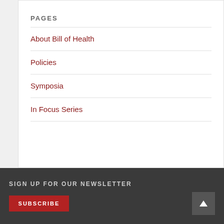PAGES
About Bill of Health
Policies
Symposia
In Focus Series
SIGN UP FOR OUR NEWSLETTER
SUBSCRIBE